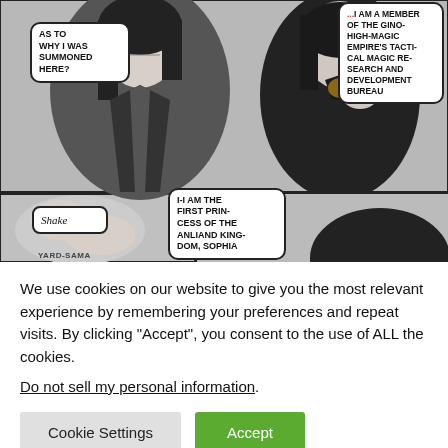[Figure (illustration): Manga comic page showing two characters in school uniforms. Speech bubbles: top-left character asks 'AS TO WHY I WAS SUMMONED HERE?'; top-right speech bubble (partially cut) reads '[...] I AM A MEMBER OF THE GINO- HIGH-MAGIC EMPIRE'S TACTI- CAL MAGIC RE- SEARCH AND DEVELOPMENT BUREAU'. Bottom panel shows 'Shake' text and bottom character says 'I-I AM THE FIRST PRIN- CESS OF THE ANLIAND KING- DOM, SOPHIA'. Watermark 'YARD-SAMA' at bottom left.]
We use cookies on our website to give you the most relevant experience by remembering your preferences and repeat visits. By clicking “Accept”, you consent to the use of ALL the cookies.
Do not sell my personal information.
Cookie Settings | Accept